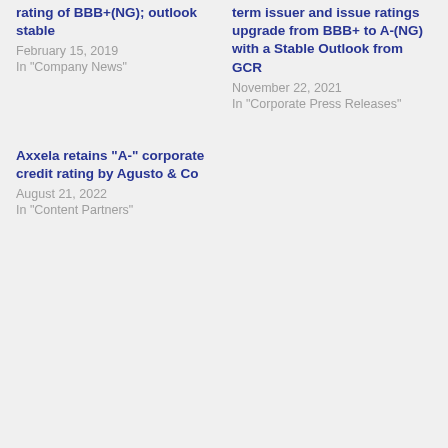rating of BBB+(NG); outlook stable
February 15, 2019
In "Company News"
term issuer and issue ratings upgrade from BBB+ to A-(NG) with a Stable Outlook from GCR
November 22, 2021
In "Corporate Press Releases"
Axxela retains “A-” corporate credit rating by Agusto & Co
August 21, 2022
In "Content Partners"